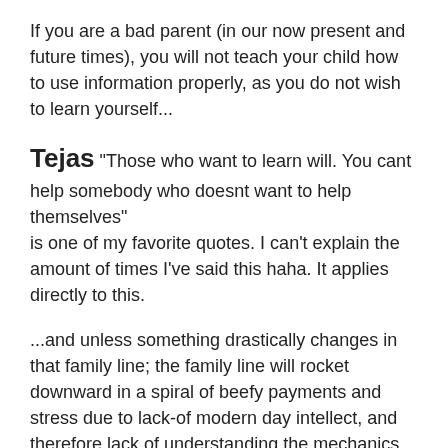If you are a bad parent (in our now present and future times), you will not teach your child how to use information properly, as you do not wish to learn yourself...
Tejas "Those who want to learn will. You cant help somebody who doesnt want to help themselves" is one of my favorite quotes. I can't explain the amount of times I've said this haha. It applies directly to this.
...and unless something drastically changes in that family line; the family line will rocket downward in a spiral of beefy payments and stress due to lack-of modern day intellect, and therefore lack of understanding the mechanics of modern life. They will be the paying backbone fuelling the higher intellect.
I tell you though, if there's one thing that China is doing right, it's paying to have kids. (e.g. Proving